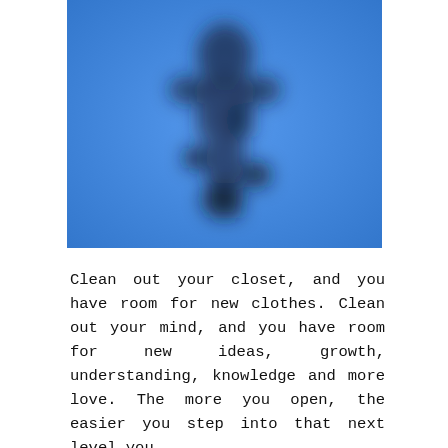[Figure (photo): A blurry photo of a figure or person silhouette against a bright blue background. The image is heavily blurred making the subject indistinct, appearing as dark shadowy shapes on a vivid blue field.]
Clean out your closet, and you have room for new clothes. Clean out your mind, and you have room for new ideas, growth, understanding, knowledge and more love. The more you open, the easier you step into that next level you.